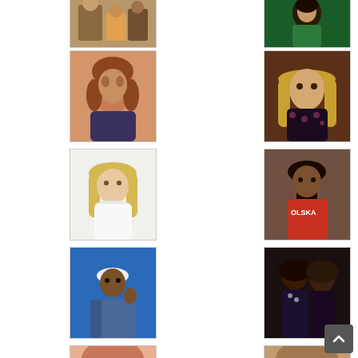[Figure (photo): Cropped photo showing two people standing, colorful clothing]
[Figure (photo): Woman in green top, partial upper body shot]
[Figure (photo): Woman with short brown hair looking concerned or upset]
[Figure (photo): Woman with long blonde hair, dark floral outfit, glamour portrait]
[Figure (photo): Woman with long blonde hair, white top, professional headshot]
[Figure (photo): Young person with braided hair wearing red shirt with OLSKA text]
[Figure (photo): Man in white cap and denim jacket making hand gesture, blue background]
[Figure (photo): Two women at event, one in sparkly outfit]
[Figure (photo): Partial photo at bottom left, cropped]
[Figure (photo): Partial photo at bottom right, cropped]